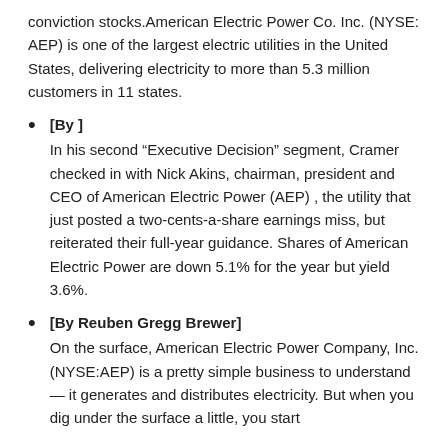conviction stocks.American Electric Power Co. Inc. (NYSE: AEP) is one of the largest electric utilities in the United States, delivering electricity to more than 5.3 million customers in 11 states.
[By ]
In his second “Executive Decision” segment, Cramer checked in with Nick Akins, chairman, president and CEO of American Electric Power (AEP) , the utility that just posted a two-cents-a-share earnings miss, but reiterated their full-year guidance. Shares of American Electric Power are down 5.1% for the year but yield 3.6%.
[By Reuben Gregg Brewer]
On the surface, American Electric Power Company, Inc. (NYSE:AEP) is a pretty simple business to understand — it generates and distributes electricity. But when you dig under the surface a little, you start